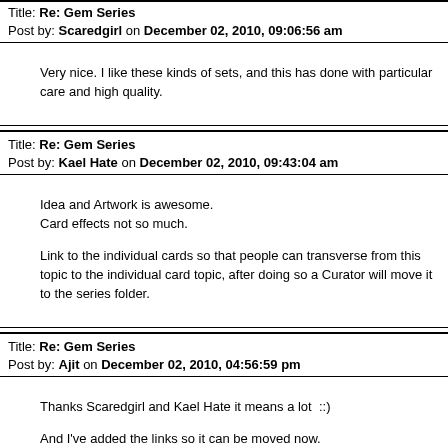Title: Re: Gem Series
Post by: Scaredgirl on December 02, 2010, 09:06:56 am
Very nice. I like these kinds of sets, and this has done with particular care and high quality.
Title: Re: Gem Series
Post by: Kael Hate on December 02, 2010, 09:43:04 am
Idea and Artwork is awesome.
Card effects not so much.

Link to the individual cards so that people can transverse from this topic to the individual card topic, after doing so a Curator will move it to the series folder.
Title: Re: Gem Series
Post by: Ajit on December 02, 2010, 04:56:59 pm
Thanks Scaredgirl and Kael Hate it means a lot  ::)

And I've added the links so it can be moved now.

@Kael Hate any suggestions then if the effects aren't good?
Title: Re: Gem Series
Post by: OldTrees on December 02, 2010, 05:00:28 pm